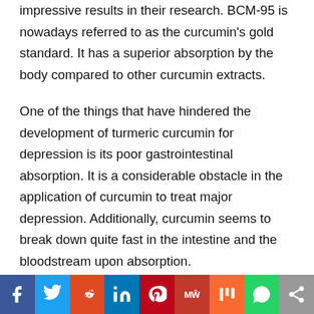impressive results in their research. BCM-95 is nowadays referred to as the curcumin's gold standard. It has a superior absorption by the body compared to other curcumin extracts.
One of the things that have hindered the development of turmeric curcumin for depression is its poor gastrointestinal absorption. It is a considerable obstacle in the application of curcumin to treat major depression. Additionally, curcumin seems to break down quite fast in the intestine and the bloodstream upon absorption.
As a result, human beings require a hefty dose of
[Figure (other): Social sharing bar with icons for Facebook, Twitter, Reddit, LinkedIn, Pinterest, MeWe, Mix, WhatsApp, and Share]